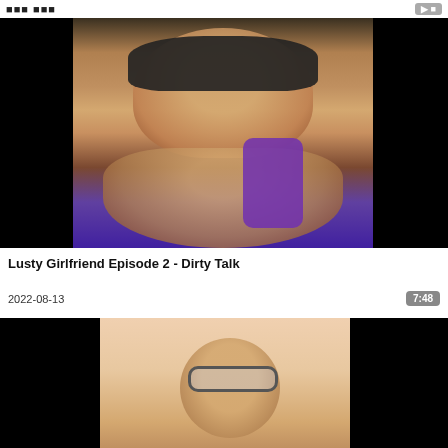[Figure (photo): Video thumbnail showing a person wearing a black sleep mask lying back, wearing purple lingerie, on a light background.]
Lusty Girlfriend Episode 2 - Dirty Talk
2022-08-13
7:48
[Figure (photo): Partial video thumbnail showing a person wearing glasses, cropped at bottom of page.]